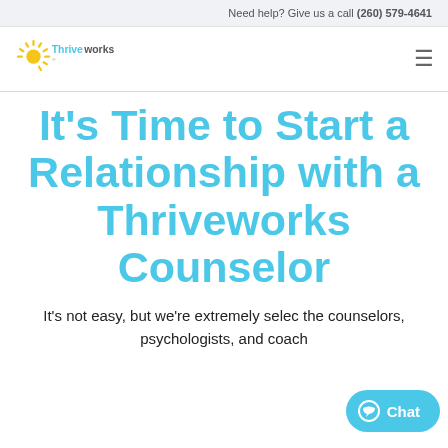Need help? Give us a call (260) 579-4641
[Figure (logo): Thriveworks logo with sunburst icon and brand name]
It’s Time to Start a Relationship with a Thriveworks Counselor
It’s not easy, but we’re extremely selec the counselors, psychologists, and coach
[Figure (other): Chat button overlay in bottom right corner]